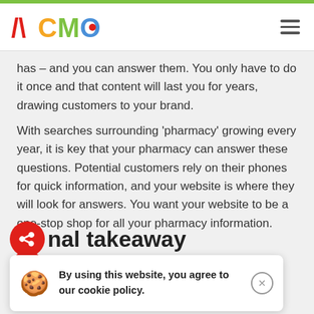[Figure (logo): ACMO logo with colorful letters in red, yellow, green, and blue]
has – and you can answer them. You only have to do it once and that content will last you for years, drawing customers to your brand.
With searches surrounding 'pharmacy' growing every year, it is key that your pharmacy can answer these questions. Potential customers rely on their phones for quick information, and your website is where they will look for answers. You want your website to be a one-stop shop for all your pharmacy information.
nal takeaway
By using this website, you agree to our cookie policy.
online? When someone is searching for a flu jab service